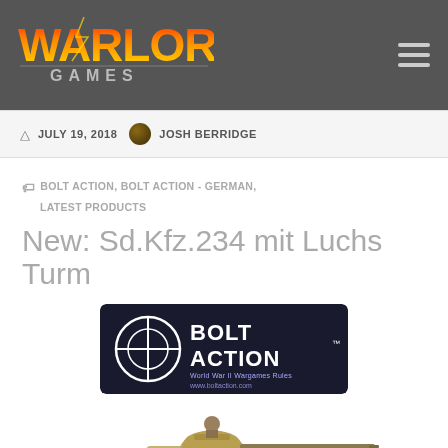[Figure (logo): Warlord Games logo with stylized text in red, orange and yellow gradient with lightning bolt effects, on dark grey navigation bar]
JULY 19, 2018  JOSH BERRIDGE
BOLT ACTION, BOLT ACTION - GERMAN, LATEST PRODUCTS
New: Sd.Kfz.234 mit Luchs Turm
[Figure (logo): Bolt Action logo badge - dark navy rectangular badge with circular crosshair/target logo on left, bold white BOLT ACTION text, World War II Wargames Rules tagline, www.boltaction.com URL]
[Figure (photo): Painted 28mm scale miniature of Sd.Kfz.234 German armored car with Luchs turret, desert tan/camouflage paint scheme, commander figure visible in turret, long gun barrel extending to the right]